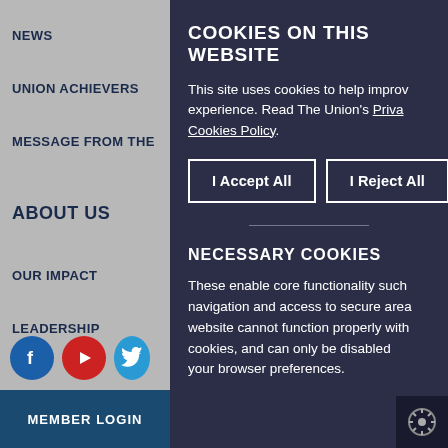NEWS
UNION ACHIEVERS
MESSAGE FROM THE
ABOUT US
OUR IMPACT
LEADERSHIP
[Figure (infographic): Social media icons: Facebook (blue circle), YouTube (red circle), Twitter (blue circle, partially visible)]
MEMBER LOGIN
COOKIES ON THIS WEBSITE
This site uses cookies to help improve your experience. Read The Union's Privacy & Cookies Policy.
I Accept All
I Reject All
NECESSARY COOKIES
These enable core functionality such as navigation and access to secure areas. The website cannot function properly without these cookies, and can only be disabled by changing your browser preferences.